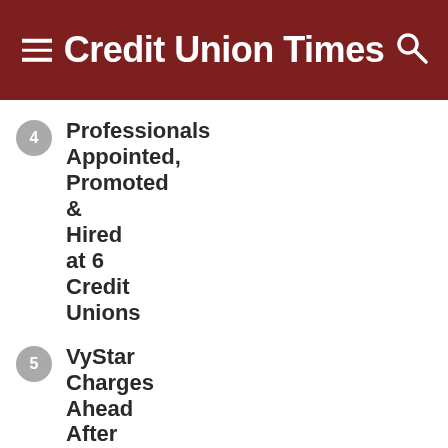Credit Union Times
Professionals Appointed, Promoted & Hired at 6 Credit Unions
VyStar Charges Ahead After Online Stumble